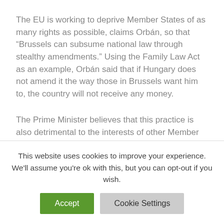The EU is working to deprive Member States of as many rights as possible, claims Orbán, so that “Brussels can subsume national law through stealthy amendments.” Using the Family Law Act as an example, Orbán said that if Hungary does not amend it the way those in Brussels want him to, the country will not receive any money.
The Prime Minister believes that this practice is also detrimental to the interests of other Member States, which is why concerned states must “stand on their hind legs” and not permit their national rights to be taken away.
This website uses cookies to improve your experience. We’ll assume you’re ok with this, but you can opt-out if you wish.